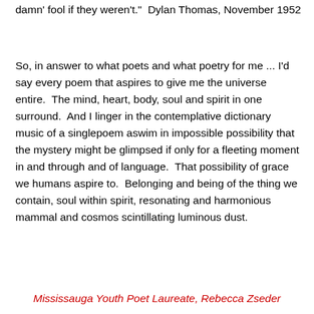damn' fool if they weren't."  Dylan Thomas, November 1952
So, in answer to what poets and what poetry for me ... I'd say every poem that aspires to give me the universe entire.  The mind, heart, body, soul and spirit in one surround.  And I linger in the contemplative dictionary music of a singlepoem aswim in impossible possibility that the mystery might be glimpsed if only for a fleeting moment in and through and of language.  That possibility of grace we humans aspire to.  Belonging and being of the thing we contain, soul within spirit, resonating and harmonious mammal and cosmos scintillating luminous dust.
Mississauga Youth Poet Laureate, Rebecca Zseder